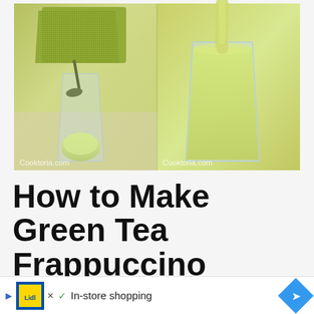[Figure (photo): Two-panel photo showing green tea frappuccino preparation: left panel shows a spoon scooping green matcha powder into a glass with ice cream scoop; right panel shows the blended green frappuccino being poured into a glass. Watermark 'Cooktoria.com' on both panels.]
How to Make Green Tea Frappuccino
Once you have all of the ingredients ready, this is